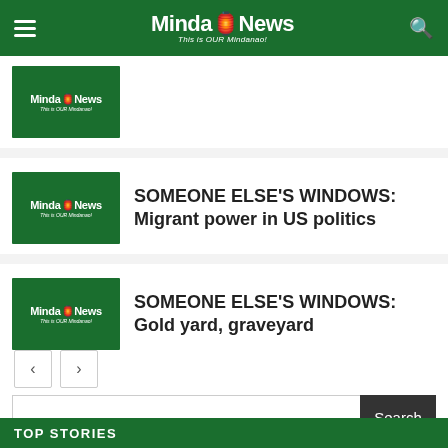MindaNews – This is OUR Mindanao!
[Figure (logo): MindaNews logo thumbnail placeholder]
SOMEONE ELSE'S WINDOWS: Migrant power in US politics
[Figure (logo): MindaNews logo thumbnail placeholder]
SOMEONE ELSE'S WINDOWS: Gold yard, graveyard
Pagination: previous and next buttons
Search
TOP STORIES